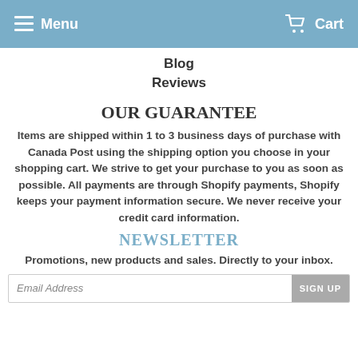Menu    Cart
Blog
Reviews
OUR GUARANTEE
Items are shipped within 1 to 3 business days of purchase with Canada Post using the shipping option you choose in your shopping cart. We strive to get your purchase to you as soon as possible. All payments are through Shopify payments, Shopify keeps your payment information secure. We never receive your credit card information.
NEWSLETTER
Promotions, new products and sales. Directly to your inbox.
Email Address    SIGN UP